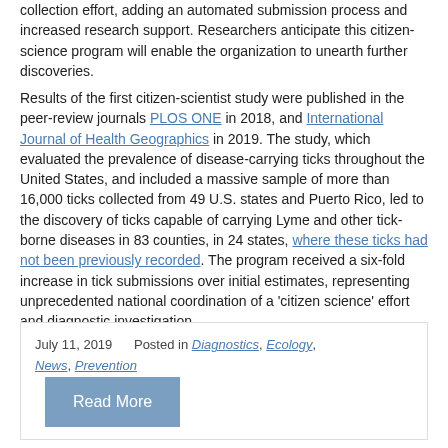collection effort, adding an automated submission process and increased research support. Researchers anticipate this citizen- science program will enable the organization to unearth further discoveries.
Results of the first citizen-scientist study were published in the peer-review journals PLOS ONE in 2018, and International Journal of Health Geographics in 2019. The study, which evaluated the prevalence of disease-carrying ticks throughout the United States, and included a massive sample of more than 16,000 ticks collected from 49 U.S. states and Puerto Rico, led to the discovery of ticks capable of carrying Lyme and other tick-borne diseases in 83 counties, in 24 states, where these ticks had not been previously recorded. The program received a six-fold increase in tick submissions over initial estimates, representing unprecedented national coordination of a 'citizen science' effort and diagnostic investigation.
July 11, 2019   Posted in Diagnostics, Ecology, News, Prevention   Read More